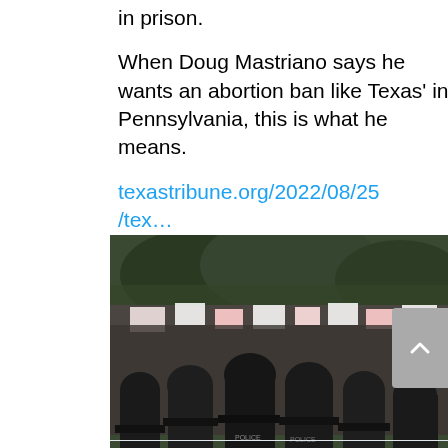in prison.
When Doug Mastriano says he wants an abortion ban like Texas' in Pennsylvania, this is what he means.
texastribune.org/2022/08/25/tex…
[Figure (photo): Protest scene showing a crowd of protesters with signs facing police officers from behind, outdoors with trees in background]
texastribune.org
Texans who perform abortions now face up to lif…
84
923